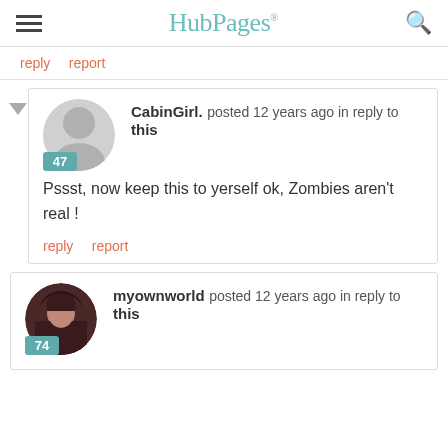HubPages
reply  report
CabinGirl. posted 12 years ago in reply to this
Pssst, now keep this to yerself ok, Zombies aren't real !
reply  report
myownworld posted 12 years ago in reply to this